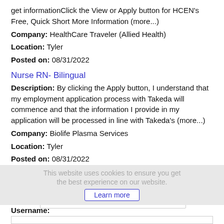get informationClick the View or Apply button for HCEN's Free, Quick Short More Information (more...)
Company: HealthCare Traveler (Allied Health)
Location: Tyler
Posted on: 08/31/2022
Nurse RN- Bilingual
Description: By clicking the Apply button, I understand that my employment application process with Takeda will commence and that the information I provide in my application will be processed in line with Takeda's (more...)
Company: Biolife Plasma Services
Location: Tyler
Posted on: 08/31/2022
Loading more jobs...
This website uses cookies to ensure you get the best experience on our website.
Learn more
Log In or Create An Account
Username: